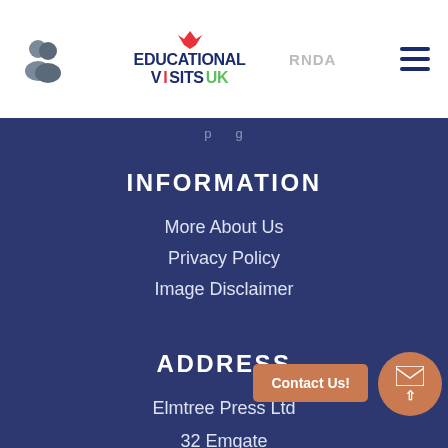Educational Visits UK [logo with people icon and hamburger menu]
p g
INFORMATION
More About Us
Privacy Policy
Image Disclaimer
ADDRESS
Elmtree Press Ltd
32 Emgate
Bedale